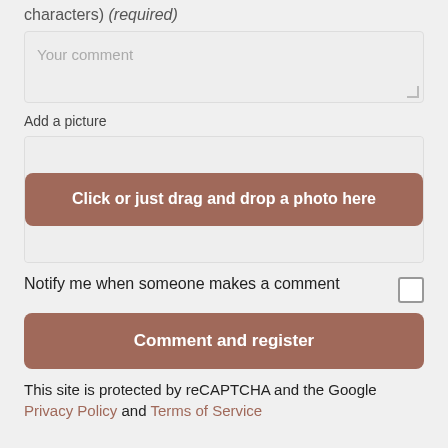characters) (required)
[Figure (screenshot): Comment text area with placeholder text 'Your comment' and resize handle]
Add a picture
[Figure (screenshot): Photo upload area with 'Click or just drag and drop a photo here' button in brownish-red color]
Notify me when someone makes a comment
[Figure (screenshot): Checkbox (unchecked) for notification opt-in]
[Figure (screenshot): Button labeled 'Comment and register' in brownish-red color]
This site is protected by reCAPTCHA and the Google Privacy Policy and Terms of Service